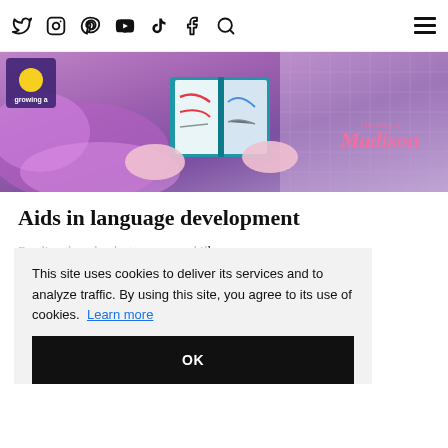Navigation bar with social icons: Twitter, Instagram, Pinterest, YouTube, TikTok, Facebook, Search, and hamburger menu
[Figure (photo): Hero banner image showing hands of a child with purple outfit reading/looking at a colorful book, with 'Growing a Madison' branding text in pink on the right side and a small logo on the left.]
Aids in language development
Reading these books to younger children will also help with language development. When reading to your little one, they begin to notice repeated words and begin to question them, what they mean, why they are used, etc. The silly words that are often incorporated will also boost their
This site uses cookies to deliver its services and to analyze traffic. By using this site, you agree to its use of cookies.  Learn more
OK